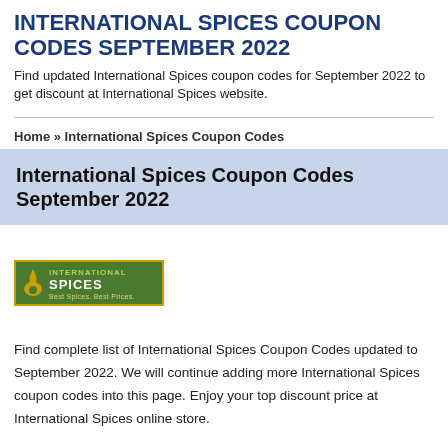INTERNATIONAL SPICES COUPON CODES SEPTEMBER 2022
Find updated International Spices coupon codes for September 2022 to get discount at International Spices website.
Home » International Spices Coupon Codes
International Spices Coupon Codes September 2022
[Figure (logo): International Spices logo: green box with golden leaf/flame icon and white SPICES text, tagline Best Spices. Best Prices.]
Find complete list of International Spices Coupon Codes updated to September 2022. We will continue adding more International Spices coupon codes into this page. Enjoy your top discount price at International Spices online store.